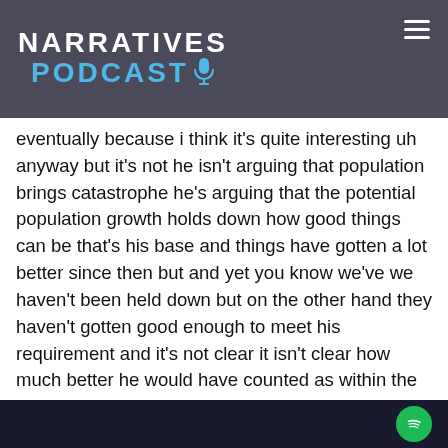NARRATIVES PODCAST
eventually because i think it's quite interesting uh anyway but it's not he isn't arguing that population brings catastrophe he's arguing that the potential population growth holds down how good things can be that's his base and things have gotten a lot better since then but and yet you know we've we haven't been held down but on the other hand they haven't gotten good enough to meet his requirement and it's not clear it isn't clear how much better he would have counted as within the possible range anyway it's that's a digression but it's an
Spotify